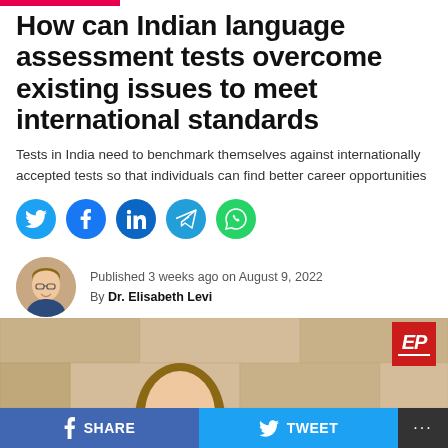How can Indian language assessment tests overcome existing issues to meet international standards
Tests in India need to benchmark themselves against internationally accepted tests so that individuals can find better career opportunities
[Figure (infographic): Social sharing icons: Twitter (blue), Facebook (blue), LinkedIn (blue), Telegram (blue), WhatsApp (green)]
Published 3 weeks ago on August 9, 2022
By Dr. Elisabeth Levi
[Figure (photo): Hero image showing a person from behind with beige/tan background]
SHARE   TWEET   ...